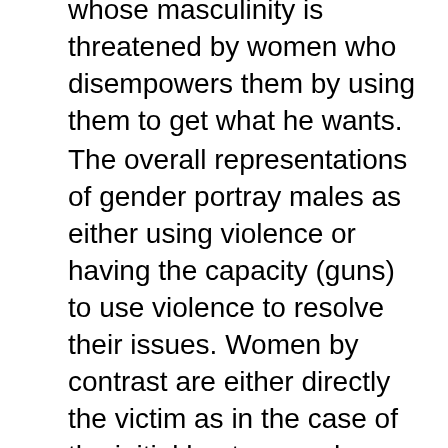whose masculinity is threatened by women who disempowers them by using them to get what he wants.
The overall representations of gender portray males as either using violence or having the capacity (guns) to use violence to resolve their issues. Women by contrast are either directly the victim as in the case of the initial hostage and Mollie and later Alex when her own daughter has been taken or as powerful but whose power is fleeting and possibly not real as Alex loses any power which she thought she had at the start of the extract.
Section two is set in 1981 and DI Drake is thrown back in time. She comes to consciousness dressed as a prostitute. The location is a derelict urban industrial area which, coupled with her utter confusion, enhances her vulnerability. She realises her situation as the camera gives us a high angle shot of her as she catches sight of